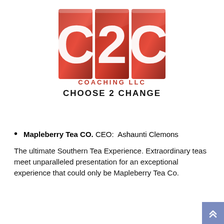[Figure (logo): C2C Coaching LLC logo with red blocks containing white letters C, 2, C with glossy 3D effect, followed by 'COACHING LLC' in red and 'CHOOSE 2 CHANGE' in bold black]
Mapleberry Tea CO. CEO:  Ashaunti Clemons
The ultimate Southern Tea Experience. Extraordinary teas meet unparalleled presentation for an exceptional experience that could only be Mapleberry Tea Co.